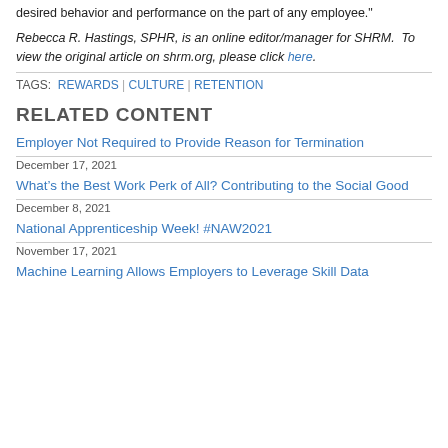desired behavior and performance on the part of any employee."
Rebecca R. Hastings, SPHR, is an online editor/manager for SHRM.  To view the original article on shrm.org, please click here.
TAGS: REWARDS | CULTURE | RETENTION
RELATED CONTENT
Employer Not Required to Provide Reason for Termination
December 17, 2021
What’s the Best Work Perk of All? Contributing to the Social Good
December 8, 2021
National Apprenticeship Week! #NAW2021
November 17, 2021
Machine Learning Allows Employers to Leverage Skill Data